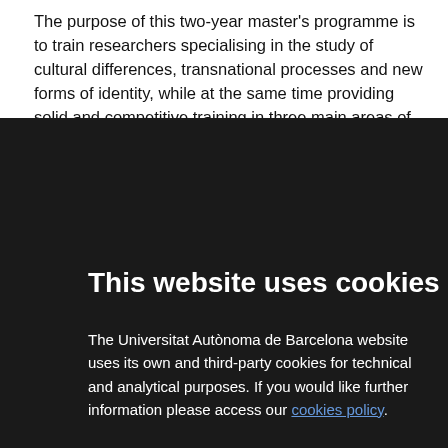The purpose of this two-year master's programme is to train researchers specialising in the study of cultural differences, transnational processes and new forms of identity, while at the same time providing solid and competitive training in three main areas of specialisation: New Identities, Material Culture and...
This website uses cookies
The Universitat Autònoma de Barcelona website uses its own and third-party cookies for technical and analytical purposes. If you would like further information please access our cookies policy.
✓ Allow all cookies
Show details